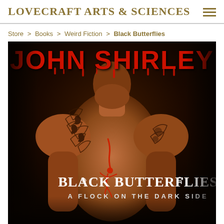LOVECRAFT ARTS & SCIENCES
Store > Books > Weird Fiction > Black Butterflies
[Figure (photo): Book cover for 'Black Butterflies: A Flock on the Dark Side' by John Shirley. Dark background with a tattooed shirtless man. Author name 'JOHN SHIRLEY' in large red dripping horror font at top. Book title 'BLACK BUTTERFLIES' in ornate white lettering and 'A FLOCK ON THE DARK SIDE' in white caps below.]